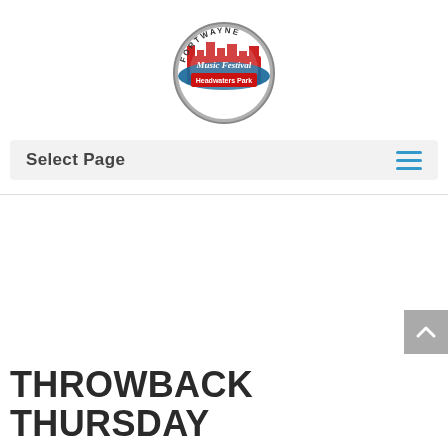[Figure (logo): Fort Wayne Music Festival circular logo with red, blue, and gray colors. Text reads 'FORTWAYNE Music Festival Headwaters Park']
Select Page
THROWBACK THURSDAY